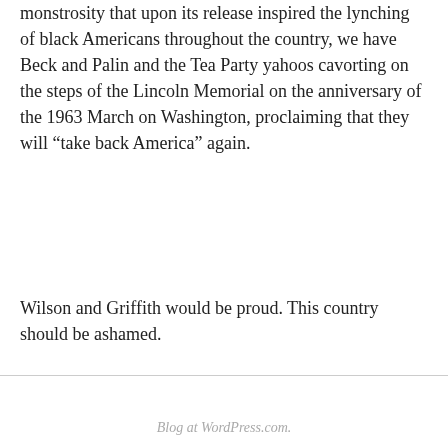monstrosity that upon its release inspired the lynching of black Americans throughout the country, we have Beck and Palin and the Tea Party yahoos cavorting on the steps of the Lincoln Memorial on the anniversary of the 1963 March on Washington, proclaiming that they will “take back America” again.
Wilson and Griffith would be proud. This country should be ashamed.
Blog at WordPress.com.